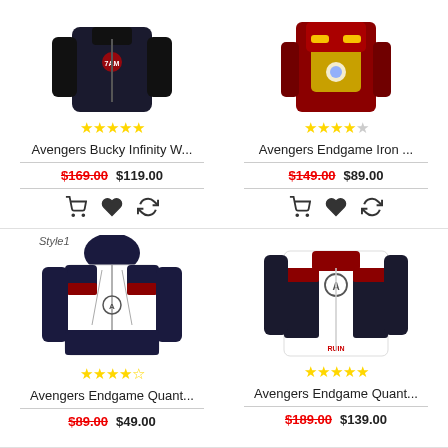[Figure (photo): Avengers Bucky Infinity War black leather jacket with 5-star rating]
Avengers Bucky Infinity W...
$169.00  $119.00
[Figure (photo): Avengers Endgame Iron Man armor jacket with 4-star rating]
Avengers Endgame Iron ...
$149.00  $89.00
[Figure (photo): Avengers Endgame Quantum Realm hoodie Style1 with 4.5-star rating]
Avengers Endgame Quant...
$89.00  $49.00
[Figure (photo): Avengers Endgame Quantum Realm leather jacket with 5-star rating]
Avengers Endgame Quant...
$189.00  $139.00